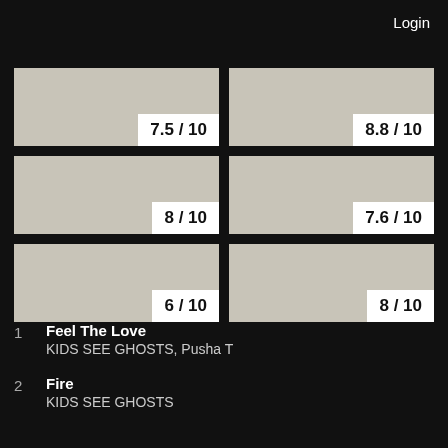Login
[Figure (other): Six album art cards in a 2x3 grid, each showing a score badge: 7.5/10, 8.8/10, 8/10, 7.6/10, 6/10, 8/10]
1  Feel The Love
KIDS SEE GHOSTS, Pusha T
2  Fire
KIDS SEE GHOSTS